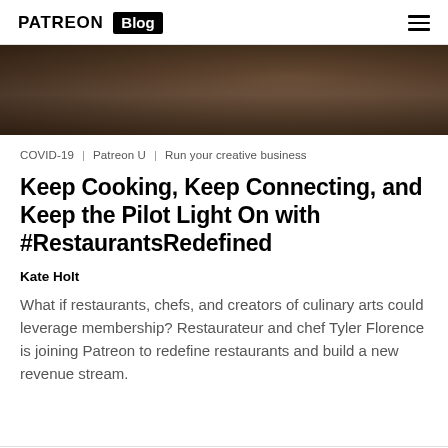PATREON Blog
[Figure (photo): Dark blurred background photo, likely a restaurant or kitchen setting with warm brown tones]
COVID-19 | Patreon U | Run your creative business
Keep Cooking, Keep Connecting, and Keep the Pilot Light On with #RestaurantsRedefined
Kate Holt
What if restaurants, chefs, and creators of culinary arts could leverage membership? Restaurateur and chef Tyler Florence is joining Patreon to redefine restaurants and build a new revenue stream.